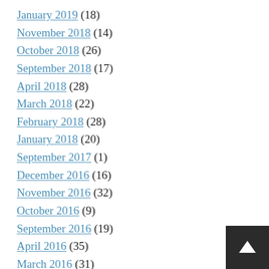January 2019 (18)
November 2018 (14)
October 2018 (26)
September 2018 (17)
April 2018 (28)
March 2018 (22)
February 2018 (28)
January 2018 (20)
September 2017 (1)
December 2016 (16)
November 2016 (32)
October 2016 (9)
September 2016 (19)
April 2016 (35)
March 2016 (31)